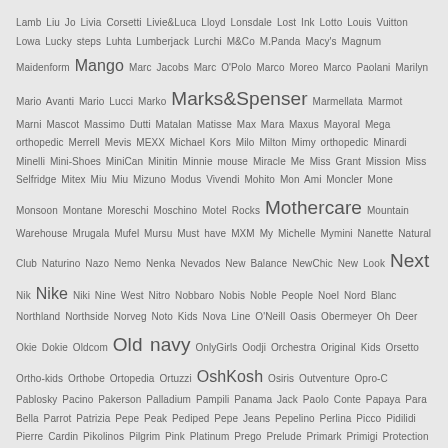Lamb Liu Jo Livia Corsetti Livie&Luca Lloyd Lonsdale Lost Ink Lotto Louis Vuitton Lowa Lucky steps Luhta Lumberjack Lurchi M&Co M.Panda Macy's Magnum Maidenform Mango Marc Jacobs Marc O'Polo Marco Moreo Marco Paolani Marilyn Mario Avanti Mario Lucci Marko Marks&Spenser Marmellata Marmot Marni Mascot Massimo Dutti Matalan Matisse Max Mara Maxus Mayoral Mega orthopedic Merrell Mevis MEXX Michael Kors Milo Milton Mimy orthopedic Minardi Minelli Mini-Shoes MiniCan Minitin Minnie mouse Miracle Me Miss Grant Mission Miss Selfridge Mitex Miu Miu Mizuno Modus Vivendi Mohito Mon Ami Moncler Mone Monsoon Montane Moreschi Moschino Motel Rocks Mothercare Mountain Warehouse Mrugala Mufel Mursu Must have MXM My Michelle Mymini Nanette Natural Club Naturino Nazo Nemo Nenka Nevados New Balance NewChic New Look Next Nik Nike Niki Nine West Nitro Nobbaro Nobis Noble People Noel Nord Blanc Northland Northside Norveg Noto Kids Nova Line O'Neill Oasis Obermeyer Oh Deer Okie Dokie Oldcom Old navy OnlyGirls Oodji Orchestra Original Kids Orsetto Ortho-kids Orthobe Ortopedia Ortuzzi OshKosh Osiris Outventure Opro-C Pablosky Pacino Pakerson Palladium Pampili Panama Jack Paolo Conte Papaya Para Bella Parrot Patrizia Pepe Peak Pediped Pepe Jeans Pepelino Perlina Picco Pidilidi Pierre Cardin Pikolinos Pilgrim Pink Platinum Prego Prelude Primark Primigi Protection Systems Puma Pumpkin Patch Ralf Ringer Ralph Lauren Rare Editions Raweks